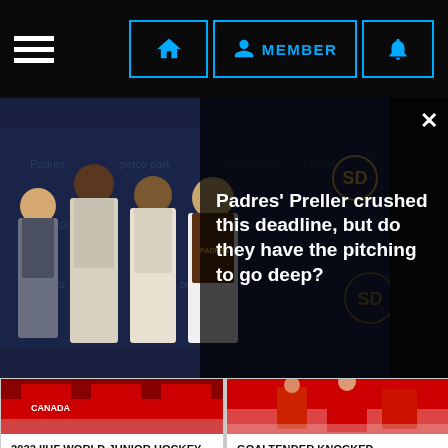Navigation bar with hamburger menu, home button, MEMBER button, notification button
[Figure (photo): Padres front office personnel posing in front of Padres/Petco Park backdrop]
Padres' Preller crushed this deadline, but do they have the pitching to go deep?
[Figure (photo): Canada hockey players at 2022 IIHF World Junior Hockey Championship]
2022 IIHF WORLD JUNIOR HOCKEY CHAMPIONSHIP SEMI-FINAL PREVIEW
[Figure (photo): Hockey goaltender knocked unconscious after getting steamrolled playing loose puck]
GOALTENDER KNOCKED UNCONSCIOUS AFTER GETTING STEAMROLLED PLAYING LOOSE PUCK (VIDEO)
[Figure (logo): NHL shield logo on grey background]
[Figure (photo): Calgary Flames player wearing jersey number 2 with Bell sponsor visible]